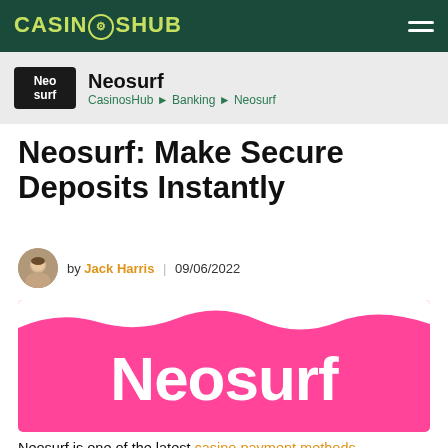CASINOSHUB
Neosurf
CasinosHub ► Banking ► Neosurf
Neosurf: Make Secure Deposits Instantly
by Jack Harris | 09/06/2022
[Figure (logo): Neosurf logo — white 'Neosurf' text on a hot-pink background with a wave shape at the top]
Neosurf is one of the latest casino payment methods